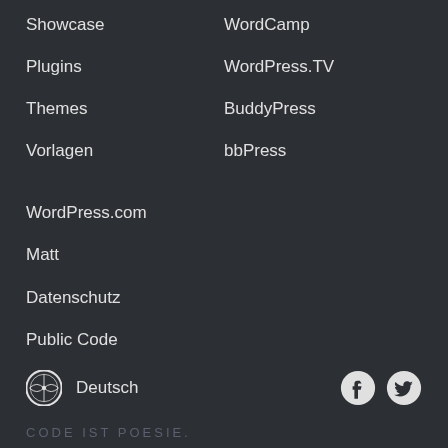Showcase
Plugins
Themes
Vorlagen
WordCamp
WordPress.TV
BuddyPress
bbPress
WordPress.com
Matt
Datenschutz
Public Code
Deutsch
CODE IST POESIE.